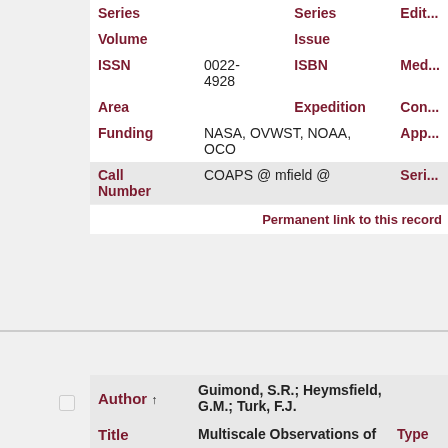| Field | Value | Field2 | Value2 |
| --- | --- | --- | --- |
| Series |  | Series |  |
| Volume |  | Issue |  |
| ISSN | 0022-4928 | ISBN |  |
| Area |  | Expedition |  |
| Funding | NASA, OVWST, NOAA, OCO |  |  |
| Call Number | COAPS @ mfield @ |  |  |
Permanent link to this record
| Field | Value | Type |
| --- | --- | --- |
| Author | Guimond, S.R.; Heymsfield, G.M.; Turk, F.J. |  |
| Title | Multiscale Observations of Hurricane Dennis (2005): The Effects... |  |